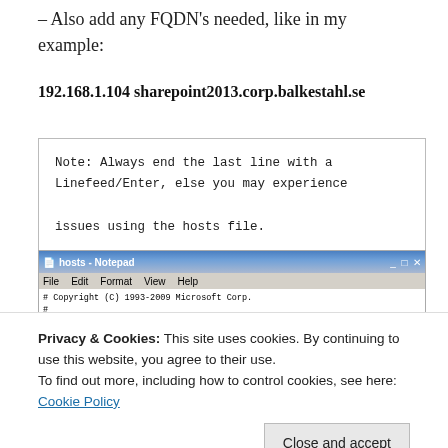– Also add any FQDN's needed, like in my example:
192.168.1.104 sharepoint2013.corp.balkestahl.se
Note: Always end the last line with a Linefeed/Enter, else you may experience issues using the hosts file.
[Figure (screenshot): Windows Notepad showing hosts file with copyright and mapping comments]
Privacy & Cookies: This site uses cookies. By continuing to use this website, you agree to their use. To find out more, including how to control cookies, see here: Cookie Policy